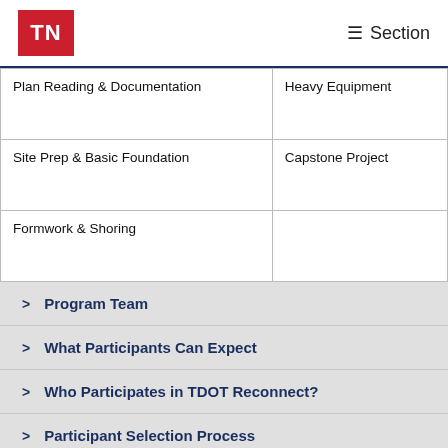TN | ☰ Section
|  |  |
| --- | --- |
| Plan Reading & Documentation | Heavy Equipment |
| Site Prep & Basic Foundation | Capstone Project |
| Formwork & Shoring |  |
Program Team
What Participants Can Expect
Who Participates in TDOT Reconnect?
Participant Selection Process
Next Steps After TDOT Reconnect
Videos
TDOT Reconnect Partners